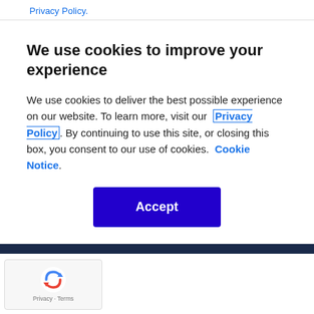Privacy Policy.
We use cookies to improve your experience
We use cookies to deliver the best possible experience on our website. To learn more, visit our Privacy Policy. By continuing to use this site, or closing this box, you consent to our use of cookies. Cookie Notice.
Accept
[Figure (logo): reCAPTCHA logo with Privacy - Terms text]